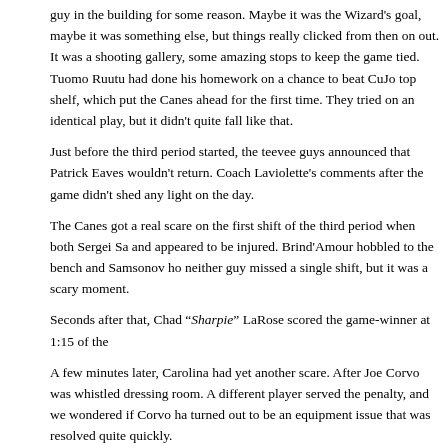guy in the building for some reason. Maybe it was the Wizard's goal, maybe it was something else, but things really clicked from then on out. It was a shooting gallery, some amazing stops to keep the game tied. Tuomo Ruutu had done his homework on a chance to beat CuJo top shelf, which put the Canes ahead for the first time. They tried on an identical play, but it didn't quite fall like that.
Just before the third period started, the teevee guys announced that Patrick Eaves wouldn't return. Coach Laviolette's comments after the game didn't shed any light on the day.
The Canes got a real scare on the first shift of the third period when both Sergei Sa and appeared to be injured. Brind'Amour hobbled to the bench and Samsonov ho neither guy missed a single shift, but it was a scary moment.
Seconds after that, Chad "Sharpie" LaRose scored the game-winner at 1:15 of the
A few minutes later, Carolina had yet another scare. After Joe Corvo was whistled dressing room. A different player served the penalty, and we wondered if Corvo ha turned out to be an equipment issue that was resolved quite quickly.
After Hagman scored to cut it to one, things got a little tense, but Carolina held the it away.
So many guys deserve to make the three stars, and I should at least mention that didn't make any three stars list. The three stars given by the Canes teevee crew w (second) and Dwight Helminen (first). The "official" three stars went to Dennis Sei Dwight Helminen (first). Mine are only a little bit different.